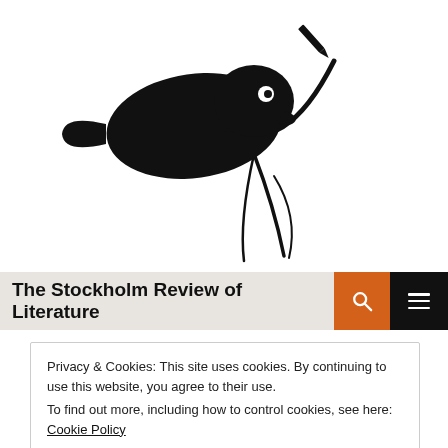[Figure (logo): Black silhouette illustration of a bird holding a pen/quill in its beak, perched on a branch. The logo of The Stockholm Review of Literature.]
The Stockholm Review of Literature
Privacy & Cookies: This site uses cookies. By continuing to use this website, you agree to their use.
To find out more, including how to control cookies, see here: Cookie Policy
Close and accept